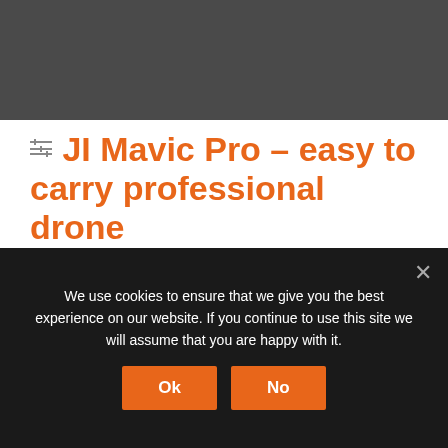[Figure (photo): Dark gray rectangular header image area]
JI Mavic Pro – easy to carry professional drone
Drones, News  0 Comments
This drone is so easy to carry. You fold the arms in and can place it in its carry-bag.
We use cookies to ensure that we give you the best experience on our website. If you continue to use this site we will assume that you are happy with it.